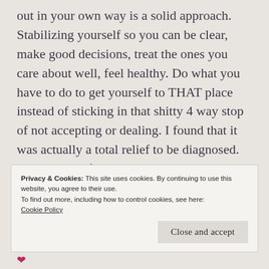out in your own way is a solid approach. Stabilizing yourself so you can be clear, make good decisions, treat the ones you care about well, feel healthy. Do what you have to do to get yourself to THAT place instead of sticking in that shitty 4 way stop of not accepting or dealing. I found that it was actually a total relief to be diagnosed. Then I could finally go about tackling it head on instead of wondering what the fuck was wrong with me.
Privacy & Cookies: This site uses cookies. By continuing to use this website, you agree to their use.
To find out more, including how to control cookies, see here:
Cookie Policy
Close and accept